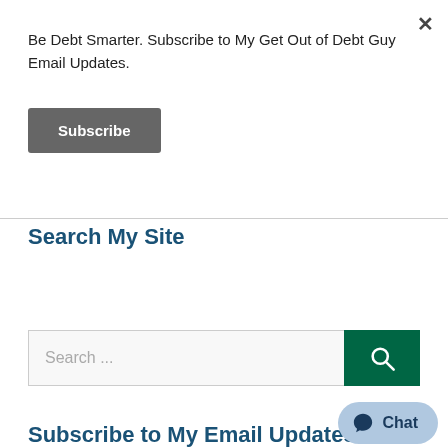Be Debt Smarter. Subscribe to My Get Out of Debt Guy Email Updates.
Subscribe
Search My Site
[Figure (other): Search bar with text input field and green search button with magnifying glass icon]
Subscribe to My Email Updates Below
Chat